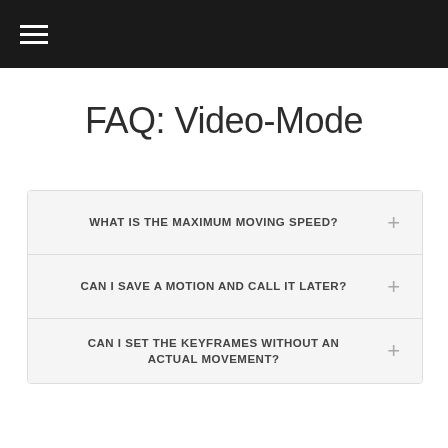FAQ: Video-Mode
WHAT IS THE MAXIMUM MOVING SPEED?
CAN I SAVE A MOTION AND CALL IT LATER?
CAN I SET THE KEYFRAMES WITHOUT AN ACTUAL MOVEMENT?